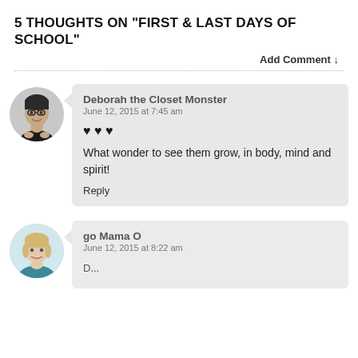5 THOUGHTS ON “FIRST & LAST DAYS OF SCHOOL”
Add Comment ↓
Deborah the Closet Monster
June 12, 2015 at 7:45 am

♥ ♥ ♥

What wonder to see them grow, in body, mind and spirit!

Reply
go Mama O
June 12, 2015 at 8:22 am